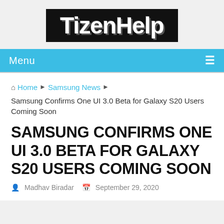TizenHelp
Menu
Home ▶ Samsung News ▶ Samsung Confirms One UI 3.0 Beta for Galaxy S20 Users Coming Soon
SAMSUNG CONFIRMS ONE UI 3.0 BETA FOR GALAXY S20 USERS COMING SOON
Madhav Biradar   September 29, 2020